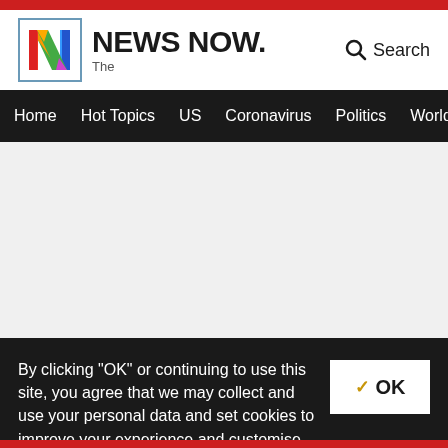[Figure (logo): The News Now logo with colorful N in a box and NEWS NOW. text]
Home  Hot Topics  US  Coronavirus  Politics  World  Sports
[Figure (screenshot): Gray empty content area]
By clicking "OK" or continuing to use this site, you agree that we may collect and use your personal data and set cookies to improve your experience and customise advertising. To see how, and to learn how to control cookies, please read our Privacy Policy and Cookie Policy.